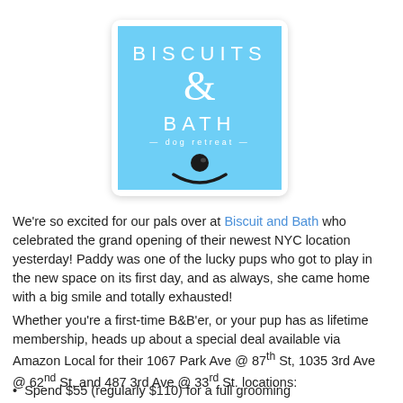[Figure (logo): Biscuits & Bath dog retreat logo — light blue square with white text and a dog nose/smile illustration]
We're so excited for our pals over at Biscuit and Bath who celebrated the grand opening of their newest NYC location yesterday! Paddy was one of the lucky pups who got to play in the new space on its first day, and as always, she came home with a big smile and totally exhausted!
Whether you're a first-time B&B'er, or your pup has as lifetime membership, heads up about a special deal available via Amazon Local for their 1067 Park Ave @ 87th St, 1035 3rd Ave @ 62nd St, and 487 3rd Ave @ 33rd St. locations:
Spend $55 (regularly $110) for a full grooming